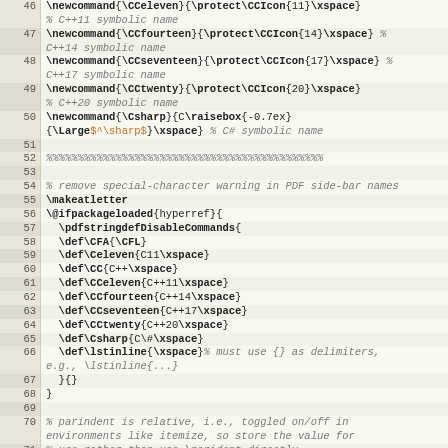[Figure (screenshot): Source code listing (LaTeX .sty file) showing line numbers 46-71 with commands for C++ and C# symbolic names, PDF sidebar name fixes, and parindent comments. Lines alternate light tan/cream background. Code is monospace with bold keywords and italic comments in gray/orange.]